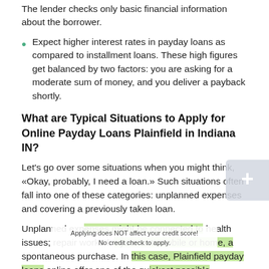The lender checks only basic financial information about the borrower.
Expect higher interest rates in payday loans as compared to installment loans. These high figures get balanced by two factors: you are asking for a moderate sum of money, and you deliver a payback shortly.
What are Typical Situations to Apply for Online Payday Loans Plainfield in Indiana IN?
Let's go over some situations when you might think, «Okay, probably, I need a loan.» Such situations often fall into one of these categories: unplanned expenses and covering a previously taken loan.
Unplanned expenses might be connected to health issues; repair works for your automobile or home, a spontaneous purchase. In this case, Plainfield payday loans online offer one of the quickest possible solutions since you receive instant help. You get the chance to receive extra cash
Applying does NOT affect your credit score!
No credit check to apply.